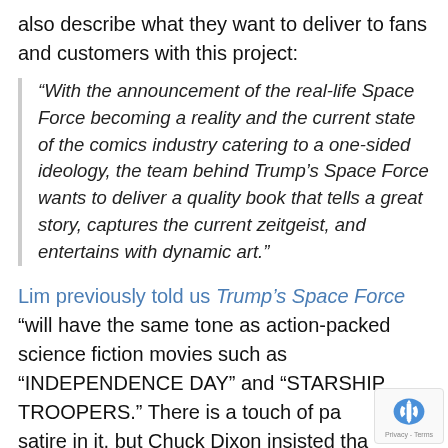also describe what they want to deliver to fans and customers with this project:
“With the announcement of the real-life Space Force becoming a reality and the current state of the comics industry catering to a one-sided ideology, the team behind Trump’s Space Force wants to deliver a quality book that tells a great story, captures the current zeitgeist, and entertains with dynamic art.”
Lim previously told us Trump’s Space Force “will have the same tone as action-packed science fiction movies such as “INDEPENDENCE DAY” and “STARSHIP TROOPERS.” There is a touch of pa[rody] and satire in it, but Chuck Dixon insisted tha[t we] tell, first and foremost, a solid story that peo[ple…]